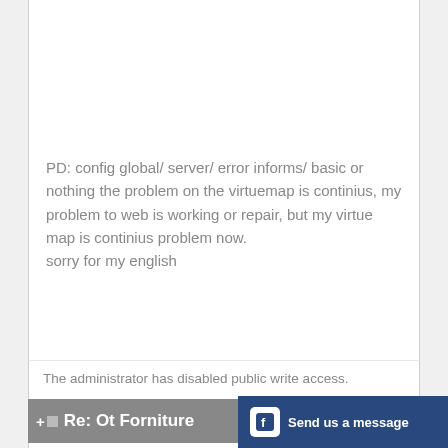PD: config global/ server/ error informs/ basic or nothing the problem on the virtuemap is continius, my problem to web is working or repair, but my virtue map is continius problem now.
sorry for my english
The administrator has disabled public write access.
Re: Ot Forniture #7616
trungdt OFFLINE